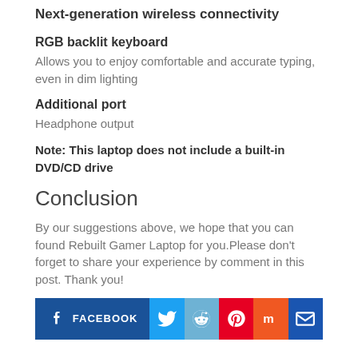Next-generation wireless connectivity
RGB backlit keyboard
Allows you to enjoy comfortable and accurate typing, even in dim lighting
Additional port
Headphone output
Note: This laptop does not include a built-in DVD/CD drive
Conclusion
By our suggestions above, we hope that you can found Rebuilt Gamer Laptop for you.Please don't forget to share your experience by comment in this post. Thank you!
[Figure (infographic): Social share buttons: Facebook, Twitter, Reddit, Pinterest, Mix, Email]